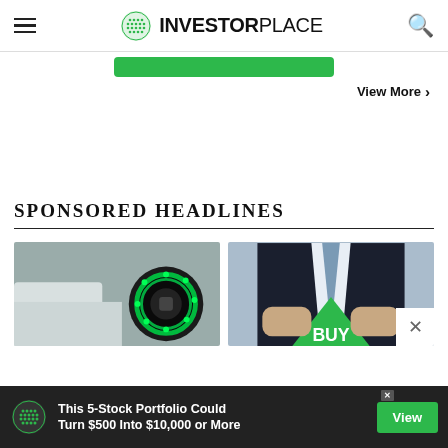INVESTORPLACE
[Figure (screenshot): Green button strip (partially visible CTA button)]
View More ›
SPONSORED HEADLINES
[Figure (photo): Electric vehicle charging port with green glowing ring, white car in background]
[Figure (photo): Businessman opening shirt to reveal green BUY sign, investment concept]
[Figure (screenshot): Bottom ad banner: 'This 5-Stock Portfolio Could Turn $500 Into $10,000 or More' with green View button on dark background]